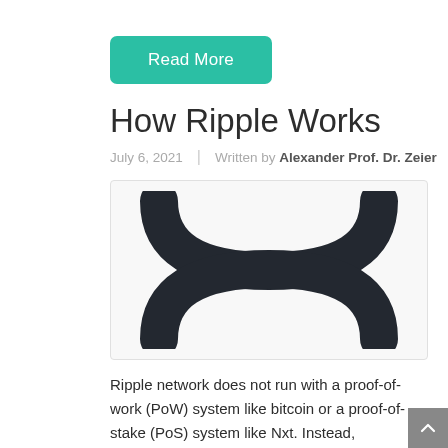Read More
How Ripple Works
July 6, 2021 | Written by Alexander Prof. Dr. Zeier
[Figure (logo): Ripple (XRP) logo — two curved boomerang shapes forming an X symbol, dark charcoal color on white background]
Ripple network does not run with a proof-of-work (PoW) system like bitcoin or a proof-of-stake (PoS) system like Nxt. Instead, transactions rely on a consensus protocol in order to validate